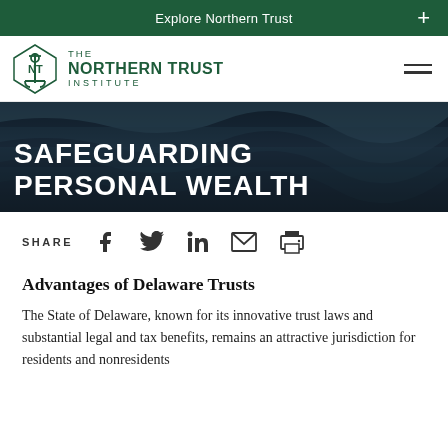Explore Northern Trust
[Figure (logo): The Northern Trust Institute logo with anchor icon]
SAFEGUARDING PERSONAL WEALTH
SHARE [Facebook] [Twitter] [LinkedIn] [Email] [Print]
Advantages of Delaware Trusts
The State of Delaware, known for its innovative trust laws and substantial legal and tax benefits, remains an attractive jurisdiction for residents and nonresidents